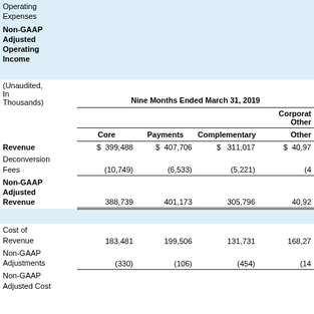| (Unaudited, In Thousands) | Core | Payments | Complementary | Corporate Other |
| --- | --- | --- | --- | --- |
| Revenue | $ 399,488 | $ 407,706 | $ 311,017 | $ 40,97... |
| Deconversion Fees | (10,749) | (6,533) | (5,221) | (4... |
| Non-GAAP Adjusted Revenue | 388,739 | 401,173 | 305,796 | 40,92... |
| Cost of Revenue | 183,481 | 199,506 | 131,731 | 168,27... |
| Non-GAAP Adjustments | (330) | (106) | (454) | (14... |
| Non-GAAP Adjusted Cost |  |  |  |  |